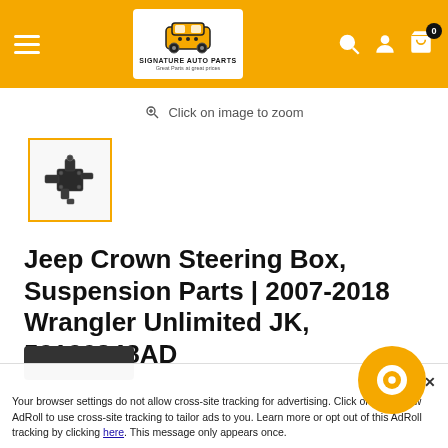Signature Auto Parts — Great Parts at great prices
Click on image to zoom
[Figure (photo): Thumbnail image of a Jeep Crown Steering Box part, shown in a small square with an orange border]
Jeep Crown Steering Box, Suspension Parts | 2007-2018 Wrangler Unlimited JK, 52126348AD
Your browser settings do not allow cross-site tracking for advertising. Click on the button to allow AdRoll to use cross-site tracking to tailor ads to you. Learn more or opt out of this AdRoll tracking by clicking here. This message only appears once.